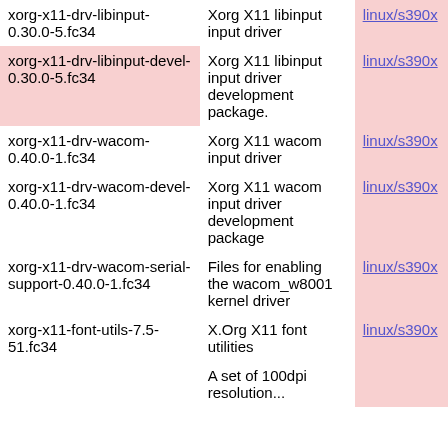| Package | Description | Arch |
| --- | --- | --- |
| xorg-x11-drv-libinput-0.30.0-5.fc34 | Xorg X11 libinput input driver | linux/s390x |
| xorg-x11-drv-libinput-devel-0.30.0-5.fc34 | Xorg X11 libinput input driver development package. | linux/s390x |
| xorg-x11-drv-wacom-0.40.0-1.fc34 | Xorg X11 wacom input driver | linux/s390x |
| xorg-x11-drv-wacom-devel-0.40.0-1.fc34 | Xorg X11 wacom input driver development package | linux/s390x |
| xorg-x11-drv-wacom-serial-support-0.40.0-1.fc34 | Files for enabling the wacom_w8001 kernel driver | linux/s390x |
| xorg-x11-font-utils-7.5-51.fc34 | X.Org X11 font utilities | linux/s390x |
|  | A set of 100dpi resolution... |  |